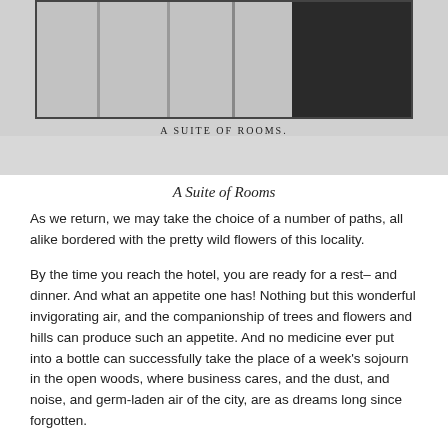[Figure (photo): A black and white photograph of a suite of rooms interior, partially visible at top of page. Caption within image reads 'A Suite of Rooms.']
A Suite of Rooms
As we return, we may take the choice of a number of paths, all alike bordered with the pretty wild flowers of this locality.
By the time you reach the hotel, you are ready for a rest– and dinner. And what an appetite one has! Nothing but this wonderful invigorating air, and the companionship of trees and flowers and hills can produce such an appetite. And no medicine ever put into a bottle can successfully take the place of a week's sojourn in the open woods, where business cares, and the dust, and noise, and germ-laden air of the city, are as dreams long since forgotten.
No less interesting, no less attractive, than this little morning ramble, is the road along the beautiful Pequea